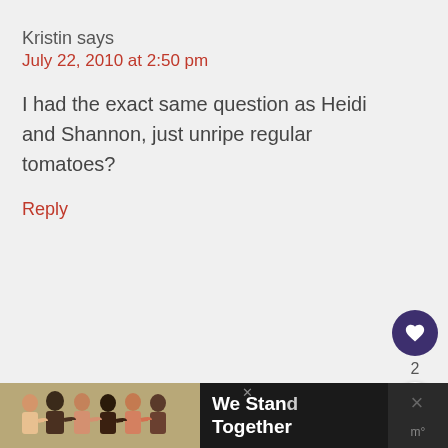Kristin says
July 22, 2010 at 2:50 pm
I had the exact same question as Heidi and Shannon, just unripe regular tomatoes?
Reply
Rebecca says
September 1, 2010 at 5:37 pm
[Figure (infographic): Ad banner at bottom: group of people with arms around each other, text reads 'We Stand Together', dark background]
[Figure (infographic): What's Next badge showing All Green Salad with... text and thumbnail]